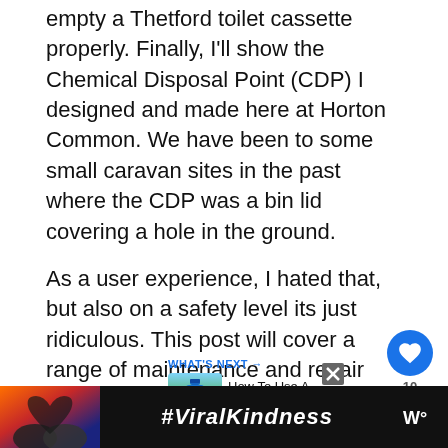empty a Thetford toilet cassette properly. Finally, I'll show the Chemical Disposal Point (CDP) I designed and made here at Horton Common. We have been to some small caravan sites in the past where the CDP was a bin lid covering a hole in the ground.
As a user experience, I hated that, but also on a safety level its just ridiculous. This post will cover a range of maintenance and repair topics. Therefore please use the Table of Content below to skip to any particular sections you're interested in.
[Figure (screenshot): UI elements: heart/like button in blue circle, share button, 'WHAT'S NEXT' recommendation box with bottle image and 'How To Use A Caravan...' text]
[Figure (screenshot): Partial content box with a green bottle/cassette visible at bottom of page]
[Figure (screenshot): Advertisement banner at bottom: black bar with hands forming heart shape, #ViralKindness text, and W° logo. X close button visible.]